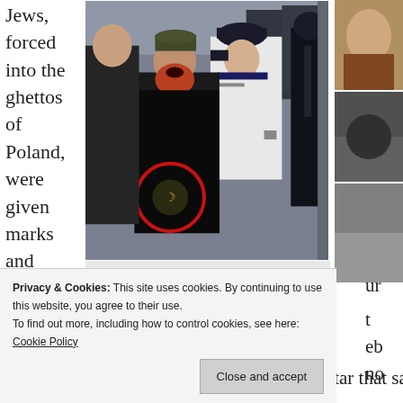Jews, forced into the ghettos of Poland, were given marks and they were not
[Figure (photo): A protest scene showing a young bearded man with a red beard confronting a police officer in London, with a red circle drawn around what appears to be an armband on the man's jacket. Other protesters and police officers are visible in the background.]
A young Brit who has joined the Mujahideen in London, and wears an armband to signify which team he is on.
allowed to do anything without the yellow star that said
Privacy & Cookies: This site uses cookies. By continuing to use this website, you agree to their use.
To find out more, including how to control cookies, see here: Cookie Policy
Close and accept